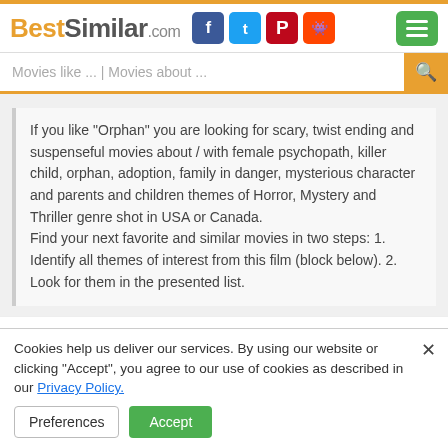BestSimilar.com
Movies like ... | Movies about ...
If you like "Orphan" you are looking for scary, twist ending and suspenseful movies about / with female psychopath, killer child, orphan, adoption, family in danger, mysterious character and parents and children themes of Horror, Mystery and Thriller genre shot in USA or Canada.
Find your next favorite and similar movies in two steps: 1. Identify all themes of interest from this film (block below). 2. Look for them in the presented list.
Orphan (2009)
7.0
217K
[Figure (screenshot): Green-toned movie banner image strip at bottom]
Cookies help us deliver our services. By using our website or clicking "Accept", you agree to our use of cookies as described in our Privacy Policy.